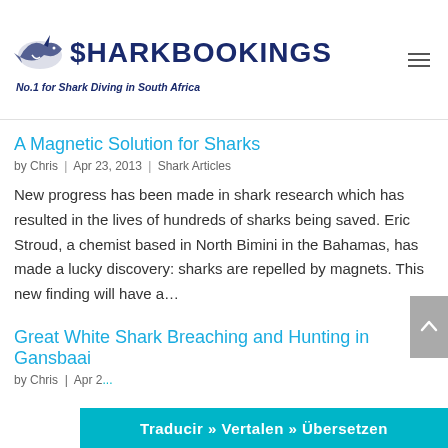SharkBookings — No.1 for Shark Diving in South Africa
information and an opportunity to experience one of the...
A Magnetic Solution for Sharks
by Chris | Apr 23, 2013 | Shark Articles
New progress has been made in shark research which has resulted in the lives of hundreds of sharks being saved. Eric Stroud, a chemist based in North Bimini in the Bahamas, has made a lucky discovery: sharks are repelled by magnets. This new finding will have a...
Great White Shark Breaching and Hunting in Gansbaai
by Chris | Apr 2...
Traducir » Vertalen » Übersetzen